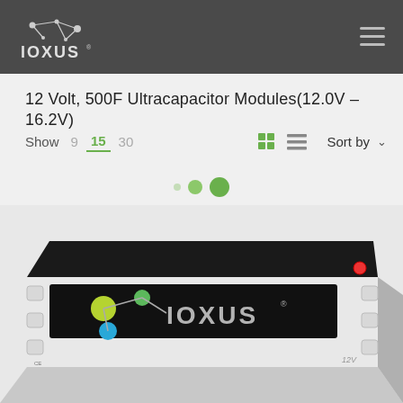IOXUS logo and navigation
12 Volt, 500F Ultracapacitor Modules(12.0V – 16.2V)
Show 9 15 30 Sort by
[Figure (photo): An IOXUS 12V ultracapacitor module product photo. The device is a rectangular white/grey casing with a black label on top showing the IOXUS logo with colored dots (yellow-green, green, teal). The unit appears to be a battery-like form factor with handles and terminals.]